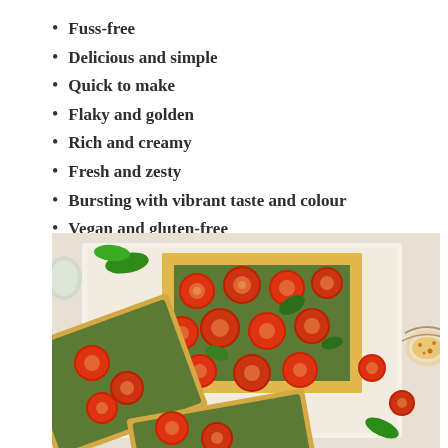Fuss-free
Delicious and simple
Quick to make
Flaky and golden
Rich and creamy
Fresh and zesty
Bursting with vibrant taste and colour
Vegan and gluten-free
[Figure (photo): Overhead view of puff pastry tarts topped with sliced cherry tomatoes and pesto, arranged on parchment paper with fresh basil leaves and a small bowl of dip in the corner.]